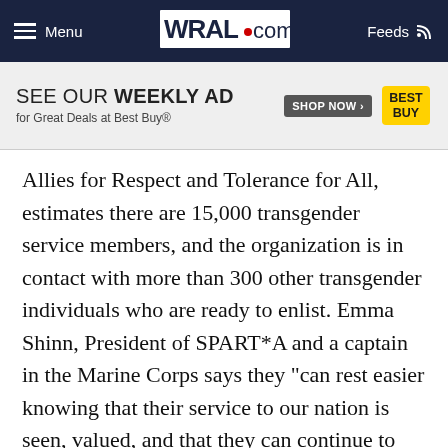Menu | WRAL.com | Feeds
[Figure (other): Best Buy advertisement banner: SEE OUR WEEKLY AD for Great Deals at Best Buy® with SHOP NOW button and Best Buy logo]
Allies for Respect and Tolerance for All, estimates there are 15,000 transgender service members, and the organization is in contact with more than 300 other transgender individuals who are ready to enlist. Emma Shinn, President of SPART*A and a captain in the Marine Corps says they "can rest easier knowing that their service to our nation is seen, valued, and that they can continue to serve as their authentic selves."